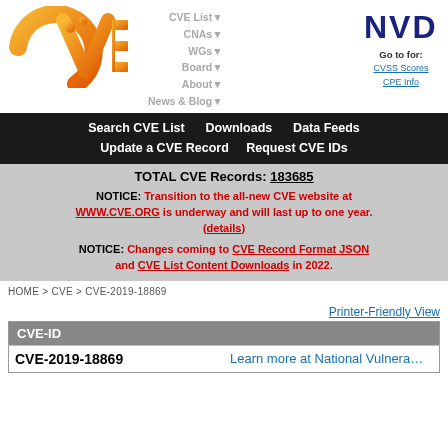[Figure (logo): CVE logo in orange gradient]
CVE List▼  CNAs▼  WGs▼  Board▼  About▼  News & Blog▼
[Figure (logo): NVD logo — Go to for: CVSS Scores, CPE Info]
Search CVE List   Downloads   Data Feeds   Update a CVE Record   Request CVE IDs
TOTAL CVE Records: 183685
NOTICE: Transition to the all-new CVE website at WWW.CVE.ORG is underway and will last up to one year. (details)
NOTICE: Changes coming to CVE Record Format JSON and CVE List Content Downloads in 2022.
HOME > CVE > CVE-2019-18869
Printer-Friendly View
| CVE-ID |  |
| --- | --- |
| CVE-2019-18869 | Learn more at National Vulnera… |